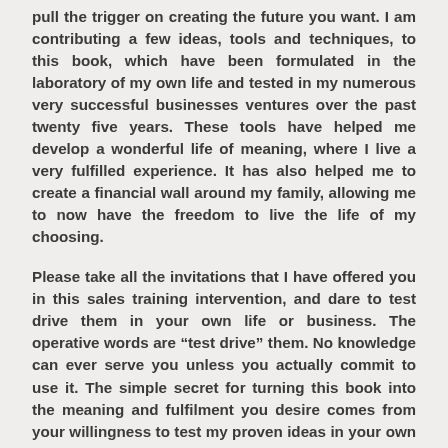pull the trigger on creating the future you want. I am contributing a few ideas, tools and techniques, to this book, which have been formulated in the laboratory of my own life and tested in my numerous very successful businesses ventures over the past twenty five years. These tools have helped me develop a wonderful life of meaning, where I live a very fulfilled experience. It has also helped me to create a financial wall around my family, allowing me to now have the freedom to live the life of my choosing.
Please take all the invitations that I have offered you in this sales training intervention, and dare to test drive them in your own life or business. The operative words are "test drive" them. No knowledge can ever serve you unless you actually commit to use it. The simple secret for turning this book into the meaning and fulfilment you desire comes from your willingness to test my proven ideas in your own life or business.
Where you are right now to improve your sales...